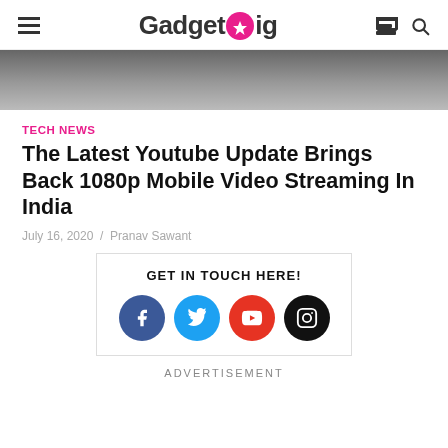GadgetGig
[Figure (photo): Cropped smartphone/tablet photo used as article hero image]
TECH NEWS
The Latest Youtube Update Brings Back 1080p Mobile Video Streaming In India
July 16, 2020 / Pranav Sawant
[Figure (infographic): GET IN TOUCH HERE! social media contact box with Facebook, Twitter, YouTube, and Instagram icons]
ADVERTISEMENT